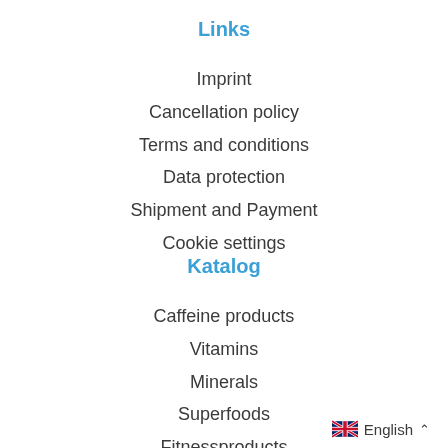Links
Imprint
Cancellation policy
Terms and conditions
Data protection
Shipment and Payment
Cookie settings
Katalog
Caffeine products
Vitamins
Minerals
Superfoods
Fitnessproducts
English